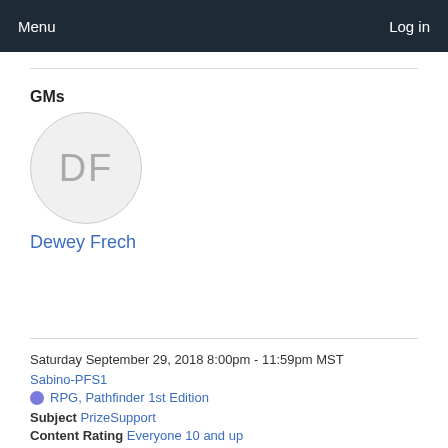Menu    Log in
GMs
[Figure (illustration): Circular avatar with initials DF in grey on light grey background]
Dewey Frech
Saturday September 29, 2018 8:00pm - 11:59pm MST
Sabino-PFS1
RPG, Pathfinder 1st Edition
Subject PrizeSupport
Content Rating Everyone 10 and up